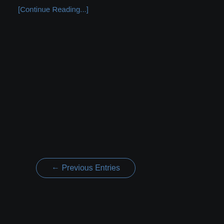[Continue Reading...]
← Previous Entries